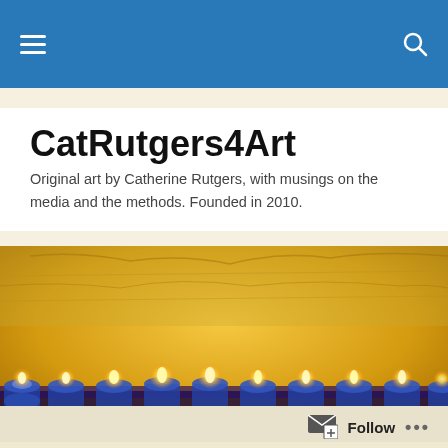CatRutgers4Art — navigation bar with hamburger menu and search icon
CatRutgers4Art
Original art by Catherine Rutgers, with musings on the media and the methods. Founded in 2010.
[Figure (photo): A row of glowing tea-light candles in blue glass holders on a warm golden-yellow background map, photographed close-up.]
Herstory's Fragments: Postcards of the Space Monkey/French Kiss...
Follow